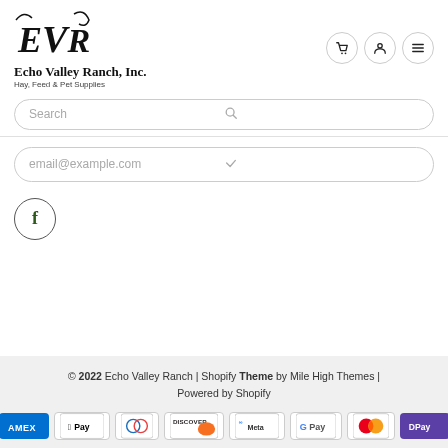[Figure (logo): EVR script logo with text 'Echo Valley Ranch, Inc. Hay, Feed & Pet Supplies']
[Figure (infographic): Navigation icons: shopping cart, user profile, hamburger menu in circles]
Search
email@example.com
[Figure (infographic): Facebook icon in a circle]
© 2022 Echo Valley Ranch | Shopify Theme by Mile High Themes | Powered by Shopify
[Figure (infographic): Payment method icons: AMEX, Apple Pay, Diners Club, Discover, Meta Pay, Google Pay, Mastercard, D Pay]